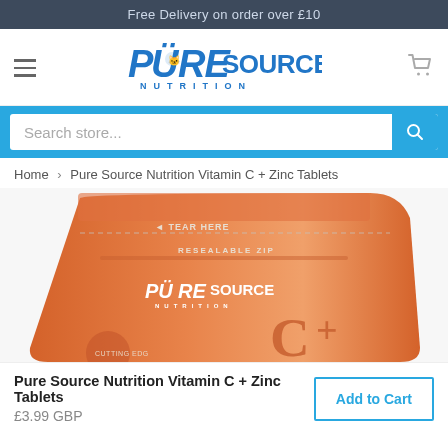Free Delivery on order over £10
[Figure (logo): Pure Source Nutrition logo in blue with stylized text and cat/lion icon]
Search store...
Home › Pure Source Nutrition Vitamin C + Zinc Tablets
[Figure (photo): Orange resealable zip pouch bag with Pure Source Nutrition branding showing Vitamin C + Zinc product]
Pure Source Nutrition Vitamin C + Zinc Tablets
£3.99 GBP
Add to Cart